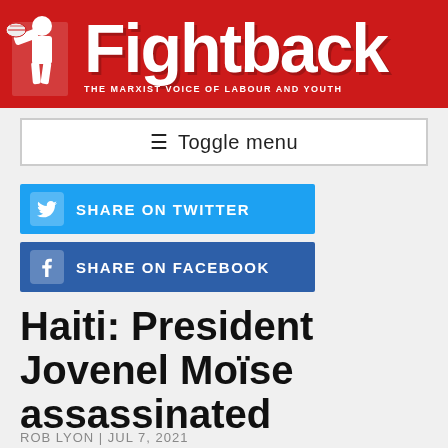Fightback — The Marxist Voice of Labour and Youth
≡ Toggle menu
SHARE ON TWITTER
SHARE ON FACEBOOK
Haiti: President Jovenel Moïse assassinated
ROB LYON | JUL 7, 2021